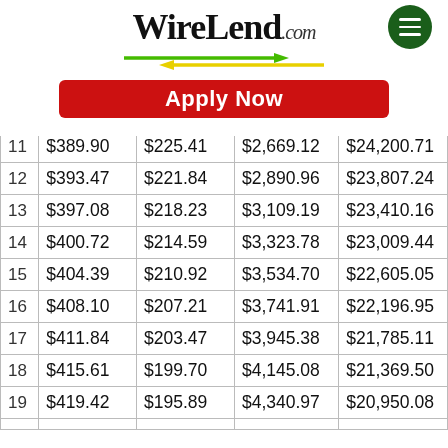[Figure (logo): WireLend.com logo with green hamburger menu button and two opposing arrows (green right-pointing and yellow left-pointing)]
[Figure (other): Red Apply Now button]
| 11 | $389.90 | $225.41 | $2,669.12 | $24,200.71 |
| 12 | $393.47 | $221.84 | $2,890.96 | $23,807.24 |
| 13 | $397.08 | $218.23 | $3,109.19 | $23,410.16 |
| 14 | $400.72 | $214.59 | $3,323.78 | $23,009.44 |
| 15 | $404.39 | $210.92 | $3,534.70 | $22,605.05 |
| 16 | $408.10 | $207.21 | $3,741.91 | $22,196.95 |
| 17 | $411.84 | $203.47 | $3,945.38 | $21,785.11 |
| 18 | $415.61 | $199.70 | $4,145.08 | $21,369.50 |
| 19 | $419.42 | $195.89 | $4,340.97 | $20,950.08 |